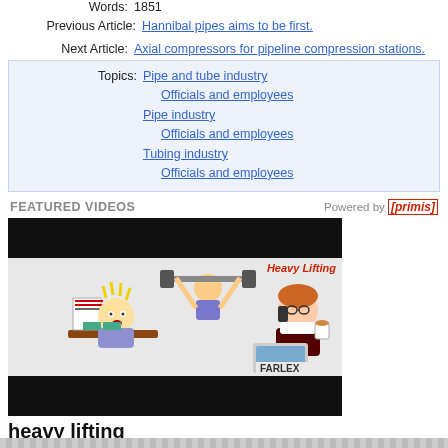Words: 1851
Previous Article: Hannibal pipes aims to be first.
Next Article: Axial compressors for pipeline compression stations.
Topics: Pipe and tube industry / Officials and employees / Pipe industry / Officials and employees / Tubing industry / Officials and employees
FEATURED VIDEOS
Powered by [primis]
[Figure (illustration): Video thumbnail showing cartoon characters doing heavy lifting tasks, with Farlex branding and 'Heavy Lifting' label]
heavy lifting
Any serious, difficult, or arduous work or activities.
Read More